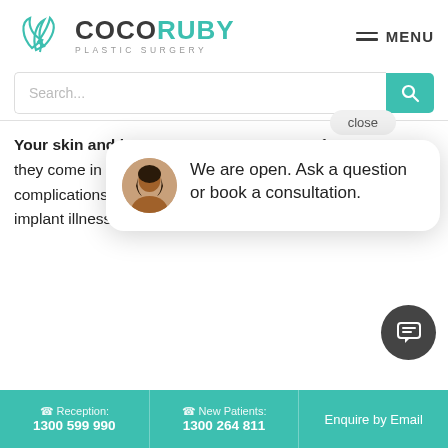[Figure (logo): CocoRuby Plastic Surgery logo with teal leaf/butterfly graphic and wordmark]
MENU
Search...
close
[Figure (screenshot): Chat popup with avatar photo and text: We are open. Ask a question or book a consultation.]
Your skin and b... If they come in co... complications like infection, capsular contracture, breast implant illness (BII), and BIA-ALCL.
Some studies have identified no difference between bacteria in BIA-ALCL patients and non-cancer patients.
Reception: 1300 599 990 | New Patients: 1300 264 811 | Enquire by Email